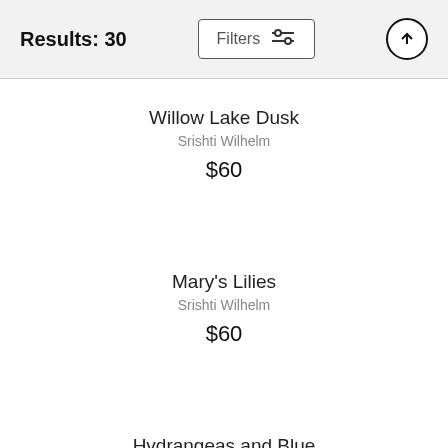Results: 30
Willow Lake Dusk
Srishti Wilhelm
$60
Mary's Lilies
Srishti Wilhelm
$60
Hydrangeas and Blue
Srishti Wilhelm